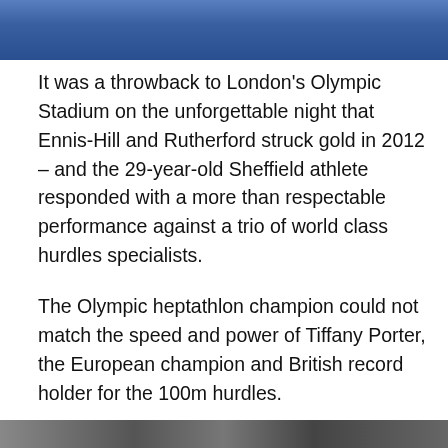[Figure (photo): Top portion of a photo showing athletes, partially cropped at the top of the page]
It was a throwback to London's Olympic Stadium on the unforgettable night that Ennis-Hill and Rutherford struck gold in 2012 – and the 29-year-old Sheffield athlete responded with a more than respectable performance against a trio of world class hurdles specialists.
The Olympic heptathlon champion could not match the speed and power of Tiffany Porter, the European champion and British record holder for the 100m hurdles.
Ennis-Hill gritted her teeth and gave European indoor silver medallist Lucy Hatton a close battle for second place before taking third ahead of European indoor bronze medallist Serita Solomon.
[Figure (photo): Bottom portion of a photo, partially cropped at the bottom of the page]